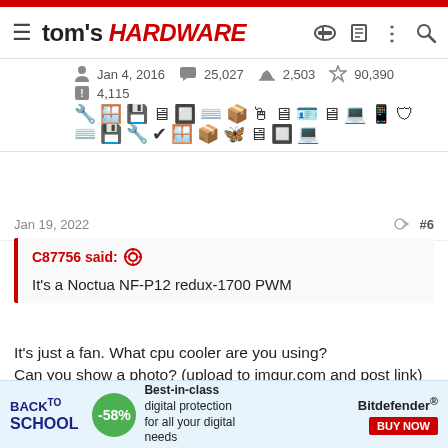tom's HARDWARE
Jan 4, 2016  25,027  2,503  90,390  4,115
[Figure (infographic): Row of computer hardware category badge icons]
Jan 19, 2022  #6
C87756 said: It's a Noctua NF-P12 redux-1700 PWM
It's just a fan. What cpu cooler are you using?
Can you show a photo? (upload to imgur.com and post link)
RodroX
[Figure (infographic): Advertisement banner: Back to School -58% Bitdefender Best-in-class digital protection for all your digital needs BUY NOW]